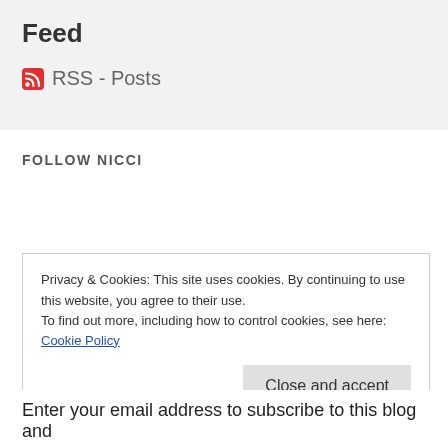Feed
RSS - Posts
FOLLOW NICCI
Privacy & Cookies: This site uses cookies. By continuing to use this website, you agree to their use.
To find out more, including how to control cookies, see here: Cookie Policy
Close and accept
Enter your email address to subscribe to this blog and